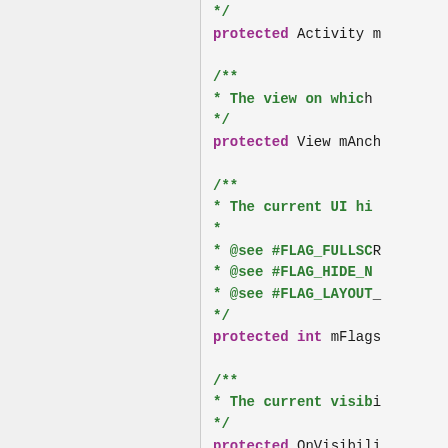Code snippet showing Java/Android protected field declarations with Javadoc comments including: Activity member, View mAnchor field, int mFlags field with @see references to #FLAG_FULLSCREEN, #FLAG_HIDE_NAVIGATION, #FLAG_LAYOUT, protected OnVisibility field, and Creates and returns method starting.